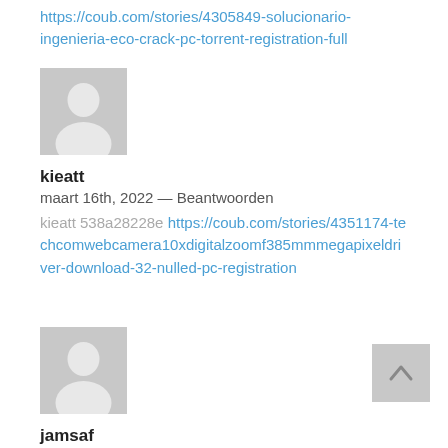https://coub.com/stories/4305849-solucionario-ingenieria-eco-crack-pc-torrent-registration-full
[Figure (illustration): Grey placeholder avatar icon for user kieatt]
kieatt
maart 16th, 2022  —  Beantwoorden
kieatt 538a28228e https://coub.com/stories/4351174-techcomwebcamera10xdigitalzoomf385mmmegapixeldriver-download-32-nulled-pc-registration
[Figure (illustration): Grey placeholder avatar icon for user jamsaf]
jamsaf
[Figure (illustration): Back to top arrow button]